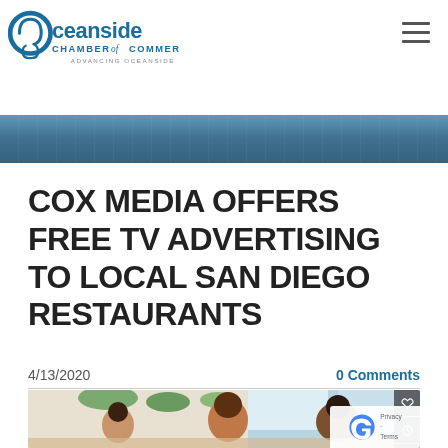Oceanside Chamber of Commerce — Advancing Oceanside
[Figure (photo): Decorative banner with palm trees and blue tones]
COX MEDIA OFFERS FREE TV ADVERTISING TO LOCAL SAN DIEGO RESTAURANTS
4/13/2020
0 Comments
[Figure (photo): Family dining at a restaurant, smiling, casual setting with plants and kitchen background]